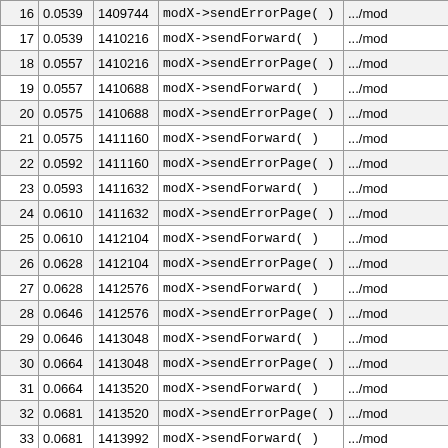| 16 | 0.0539 | 1409744 | modX->sendErrorPage( ) | .../mod |
| 17 | 0.0539 | 1410216 | modX->sendForward( ) | .../mod |
| 18 | 0.0557 | 1410216 | modX->sendErrorPage( ) | .../mod |
| 19 | 0.0557 | 1410688 | modX->sendForward( ) | .../mod |
| 20 | 0.0575 | 1410688 | modX->sendErrorPage( ) | .../mod |
| 21 | 0.0575 | 1411160 | modX->sendForward( ) | .../mod |
| 22 | 0.0592 | 1411160 | modX->sendErrorPage( ) | .../mod |
| 23 | 0.0593 | 1411632 | modX->sendForward( ) | .../mod |
| 24 | 0.0610 | 1411632 | modX->sendErrorPage( ) | .../mod |
| 25 | 0.0610 | 1412104 | modX->sendForward( ) | .../mod |
| 26 | 0.0628 | 1412104 | modX->sendErrorPage( ) | .../mod |
| 27 | 0.0628 | 1412576 | modX->sendForward( ) | .../mod |
| 28 | 0.0646 | 1412576 | modX->sendErrorPage( ) | .../mod |
| 29 | 0.0646 | 1413048 | modX->sendForward( ) | .../mod |
| 30 | 0.0664 | 1413048 | modX->sendErrorPage( ) | .../mod |
| 31 | 0.0664 | 1413520 | modX->sendForward( ) | .../mod |
| 32 | 0.0681 | 1413520 | modX->sendErrorPage( ) | .../mod |
| 33 | 0.0681 | 1413992 | modX->sendForward( ) | .../mod |
| 34 | 0.0698 | 1413992 | modX->sendErrorPage( ) | .../mod |
| 35 | 0.0698 | 1414464 | modX->sendForward( ) | .../mod |